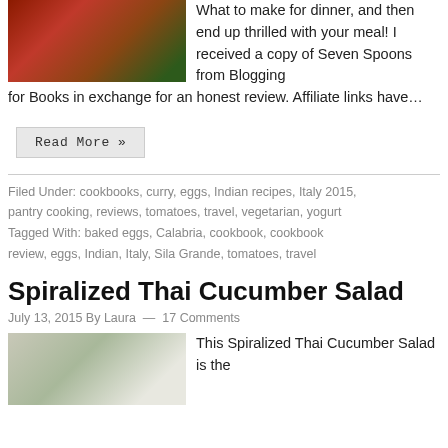[Figure (photo): Food photo showing a red skillet with a dish containing eggs, tomatoes and other ingredients on a dark wooden surface]
What to make for dinner, and then end up thrilled with your meal! I received a copy of Seven Spoons from Blogging for Books in exchange for an honest review. Affiliate links have…
Read More »
Filed Under: cookbooks, curry, eggs, Indian recipes, Italy 2015, pantry cooking, reviews, tomatoes, travel, vegetarian, yogurt
Tagged With: baked eggs, Calabria, cookbook, cookbook review, eggs, Indian, Italy, Sila Grande, tomatoes, travel
Spiralized Thai Cucumber Salad
July 13, 2015 By Laura — 17 Comments
[Figure (photo): Photo of a spiralized cucumber salad dish on a white plate with green garnish]
This Spiralized Thai Cucumber Salad is the